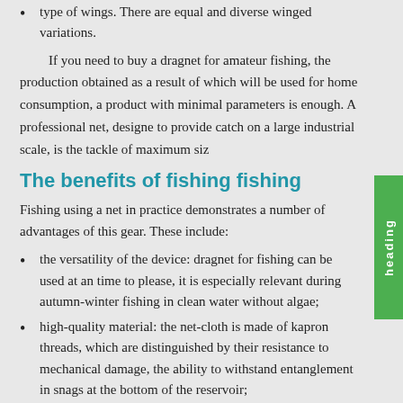type of wings. There are equal and diverse winged variations.
If you need to buy a dragnet for amateur fishing, the production obtained as a result of which will be used for home consumption, a product with minimal parameters is enough. A professional net, designed to provide catch on a large industrial scale, is the tackle of maximum size
The benefits of fishing fishing
Fishing using a net in practice demonstrates a number of advantages of this gear. These include:
the versatility of the device: dragnet for fishing can be used at any time to please, it is especially relevant during autumn-winter fishing in clean water without algae;
high-quality material: the net-cloth is made of kapron threads, which are distinguished by their resistance to mechanical damage, the ability to withstand entanglement in snags at the bottom of the reservoir;
accessibility of gear: the popularity of the equipment and the best prices allow anyone interested in fishing to replenish their arsenal of equipment;